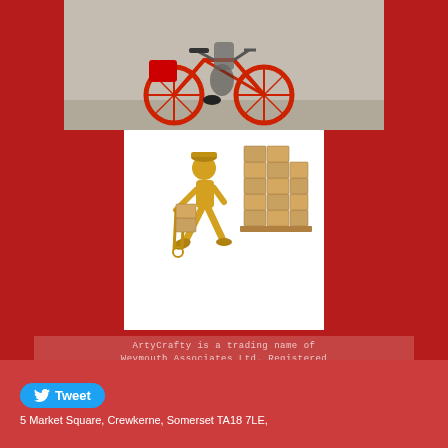[Figure (photo): Photo of a person on a red delivery bicycle on a street]
[Figure (illustration): 3D golden figurine pushing a hand truck with stacked boxes next to a pallet of stacked boxes, on a white background]
ArtyCrafty is a trading name of Weymouth Associates Ltd. Registered Office: F7A Egdon Hall,Lynch Lane, Weymouth DT4 9DN .     UK Registered Company No 04563789
Tweet
5 Market Square, Crewkerne, Somerset TA18 7LE,